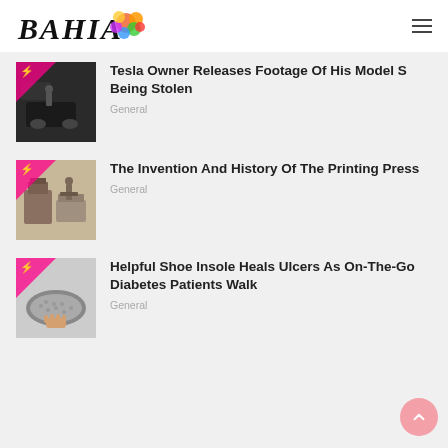BAHIA [logo with colorful splash]
Tesla Owner Releases Footage Of His Model S Being Stolen — General
The Invention And History Of The Printing Press — General
Helpful Shoe Insole Heals Ulcers As On-The-Go Diabetes Patients Walk — General